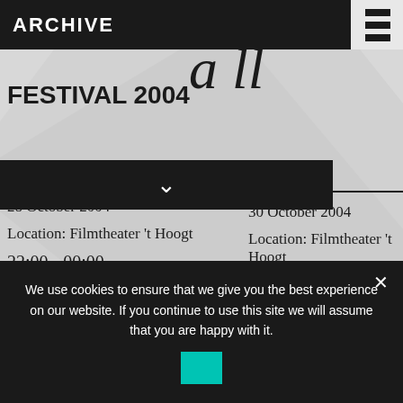ARCHIVE
FESTIVAL 2004
28 October 2004
Location: Filmtheater 't Hoogt
22:00 - 00:00
30 October 2004
Location: Filmtheater 't Hoogt
14:00 - 16:00
War against terror? There is nothing really new under the sun. Countries and resistance movements have been using violence for ages. But what is the difference between freedom fighters and troublemakers? And at what point
We use cookies to ensure that we give you the best experience on our website. If you continue to use this site we will assume that you are happy with it.